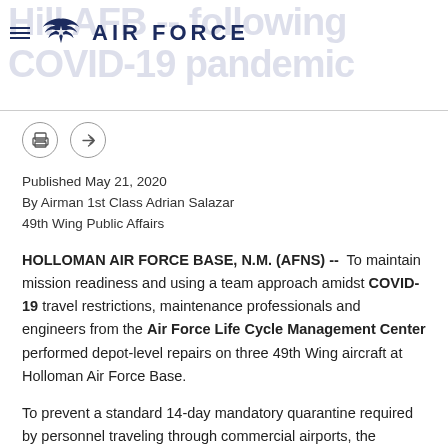AIR FORCE
[Figure (logo): U.S. Air Force logo with eagle wings emblem and text AIR FORCE]
Published May 21, 2020
By Airman 1st Class Adrian Salazar
49th Wing Public Affairs
HOLLOMAN AIR FORCE BASE, N.M. (AFNS) -- To maintain mission readiness and using a team approach amidst COVID-19 travel restrictions, maintenance professionals and engineers from the Air Force Life Cycle Management Center performed depot-level repairs on three 49th Wing aircraft at Holloman Air Force Base.
To prevent a standard 14-day mandatory quarantine required by personnel traveling through commercial airports, the AFLCMC depot field team located at Hill AFB